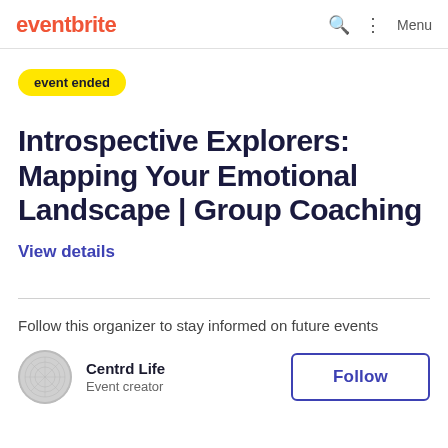eventbrite  Menu
event ended
Introspective Explorers: Mapping Your Emotional Landscape | Group Coaching
View details
Follow this organizer to stay informed on future events
Centrd Life
Event creator
Follow